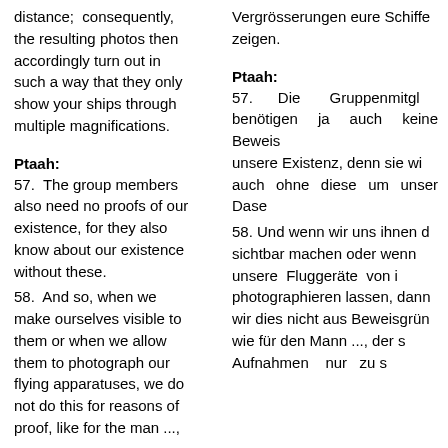distance; consequently, the resulting photos then accordingly turn out in such a way that they only show your ships through multiple magnifications.
Vergrösserungen eure Schiffe zeigen.
Ptaah:
Ptaah:
57. The group members also need no proofs of our existence, for they also know about our existence without these.
57. Die Gruppenmitgl benötigen ja auch keine Beweis unsere Existenz, denn sie wi auch ohne diese um unser Dase
58. And so, when we make ourselves visible to them or when we allow them to photograph our flying apparatuses, we do not do this for reasons of proof, like for the man ...,
58. Und wenn wir uns ihnen d sichtbar machen oder wenn unsere Fluggeräte von i photographieren lassen, dann wir dies nicht aus Beweisgrün wie für den Mann ..., der s Aufnahmen nur zu s